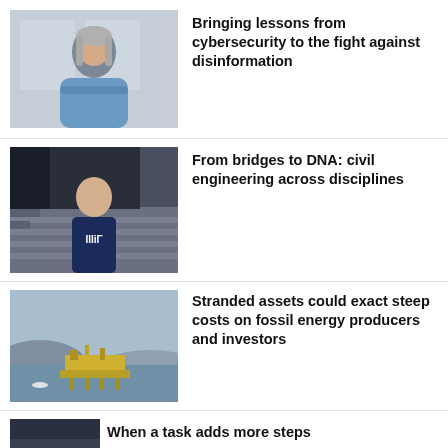[Figure (photo): Person with gray hair standing with arms crossed in a building hallway]
Bringing lessons from cybersecurity to the fight against disinformation
[Figure (photo): Young man wearing an MIT t-shirt standing on steps of a building]
From bridges to DNA: civil engineering across disciplines
[Figure (photo): Offshore oil platform on calm water with mountains in background]
Stranded assets could exact steep costs on fossil energy producers and investors
[Figure (photo): Partial view of a fourth article image]
When a task adds more steps